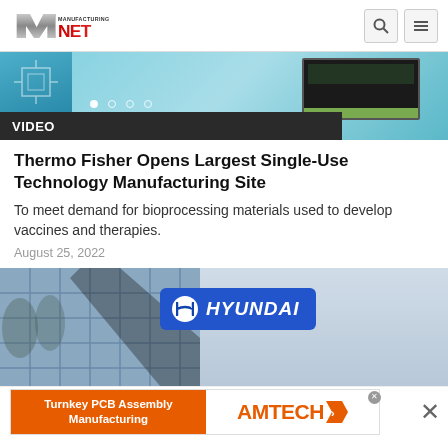Manufacturing.net
[Figure (screenshot): Banner image showing circuit board and monitor screen with VIDEO label overlay]
Thermo Fisher Opens Largest Single-Use Technology Manufacturing Site
To meet demand for bioprocessing materials used to develop vaccines and therapies.
August 25, 2022
[Figure (photo): Hyundai building exterior with blue Hyundai logo sign on glass facade]
[Figure (illustration): Advertisement banner: Turnkey PCB Assembly Manufacturing - AMTECH]